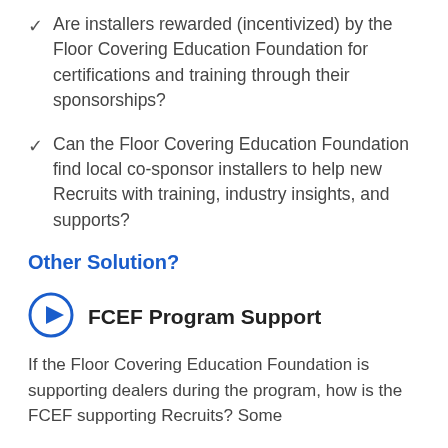Are installers rewarded (incentivized) by the Floor Covering Education Foundation for certifications and training through their sponsorships?
Can the Floor Covering Education Foundation find local co-sponsor installers to help new Recruits with training, industry insights, and supports?
Other Solution?
FCEF Program Support
If the Floor Covering Education Foundation is supporting dealers during the program, how is the FCEF supporting Recruits? Some